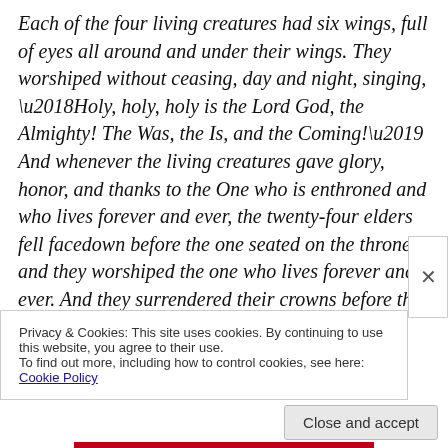Each of the four living creatures had six wings, full of eyes all around and under their wings. They worshiped without ceasing, day and night, singing, ‘Holy, holy, holy is the Lord God, the Almighty! The Was, the Is, and the Coming!’ And whenever the living creatures gave glory, honor, and thanks to the One who is enthroned and who lives forever and ever, the twenty-four elders fell facedown before the one seated on the throne and they worshiped the one who lives forever and ever. And they surrendered their crowns before the throne, singing: ‘You are worthy, our Lord and God, to receive glory, honor, and power, for you created all
Privacy & Cookies: This site uses cookies. By continuing to use this website, you agree to their use.
To find out more, including how to control cookies, see here: Cookie Policy
Close and accept